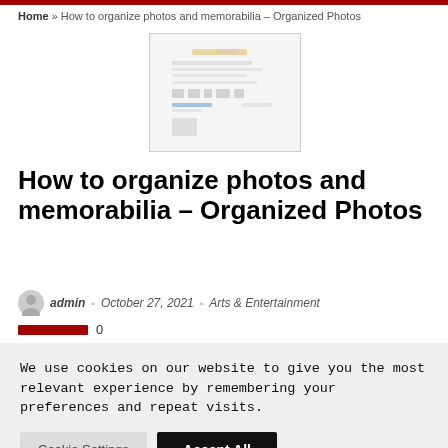Home » How to organize photos and memorabilia – Organized Photos
[Figure (screenshot): Blurred screenshot of a document page with text and icons, used as a featured image thumbnail for the article.]
How to organize photos and memorabilia – Organized Photos
admin · October 27, 2021 · Arts & Entertainment
0
We use cookies on our website to give you the most relevant experience by remembering your preferences and repeat visits.
Cookie Settings   Accept All